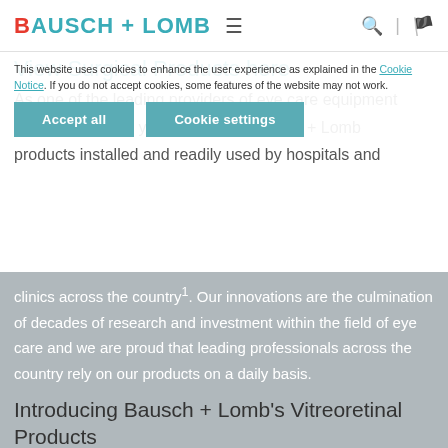BAUSCH + LOMB
This website uses cookies to enhance the user experience as explained in the Cookie Notice. If you do not accept cookies, some features of the website may not work.
View Surgical Products here
As one of the leading providers of eye care equipment and accessories, you'll often find Bausch + Lomb products installed and readily used by hospitals and clinics across the country¹. Our innovations are the culmination of decades of research and investment within the field of eye care and we are proud that leading professionals across the country rely on our products on a daily basis.
Introducing Bausch + Lomb’s Vitreoretinal Products